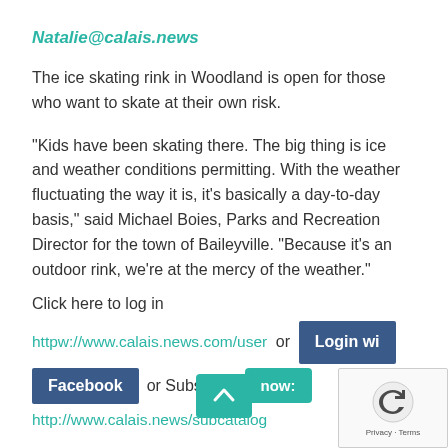Natalie@calais.news
The ice skating rink in Woodland is open for those who want to skate at their own risk.
“Kids have been skating there. The big thing is ice and weather conditions permitting. With the weather fluctuating the way it is, it’s basically a day-to-day basis,” said Michael Boies, Parks and Recreation Director for the town of Baileyville. “Because it’s an outdoor rink, we’re at the mercy of the weather.”
Click here to log in
httpw://www.calais.news.com/user or Login wi Facebook or Subscribe now: http://www.calais.news/subcatalog